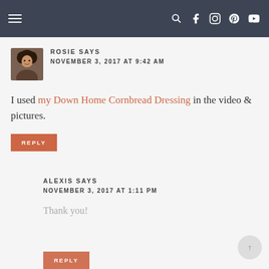Navigation bar with hamburger menu and social icons
[Figure (illustration): Avatar photo of Rosie - woman with curly hair]
ROSIE SAYS
NOVEMBER 3, 2017 AT 9:42 AM
I used my Down Home Cornbread Dressing in the video & pictures.
REPLY
ALEXIS SAYS
NOVEMBER 3, 2017 AT 1:11 PM
Thank you!
REPLY (partial)